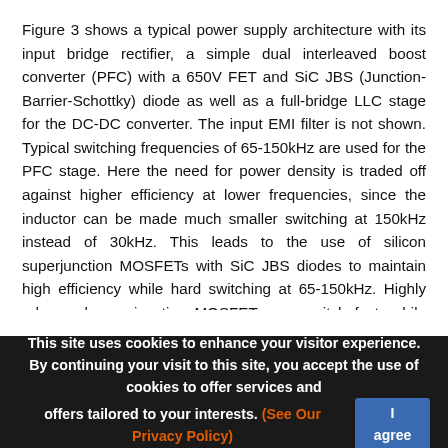Figure 3 shows a typical power supply architecture with its input bridge rectifier, a simple dual interleaved boost converter (PFC) with a 650V FET and SiC JBS (Junction-Barrier-Schottky) diode as well as a full-bridge LLC stage for the DC-DC converter. The input EMI filter is not shown. Typical switching frequencies of 65-150kHz are used for the PFC stage. Here the need for power density is traded off against higher efficiency at lower frequencies, since the inductor can be made much smaller switching at 150kHz instead of 30kHz. This leads to the use of silicon superjunction MOSFETs with SiC JBS diodes to maintain high efficiency while hard switching at 65-150kHz. Highly advanced superjunction MOSFETs can switch fast, while the SiC Schottky diode helps minimize the turn-on losses in the MOSFET.
[Figure (schematic): Partial circuit diagram showing a power supply with bridge rectifier, dual interleaved boost converter with inductors and diodes, and full-bridge LLC stage with MOSFETs and transformer components.]
This site uses cookies to enhance your visitor experience. By continuing your visit to this site, you accept the use of cookies to offer services and offers tailored to your interests. (See Our Privacy Policy)  I agree